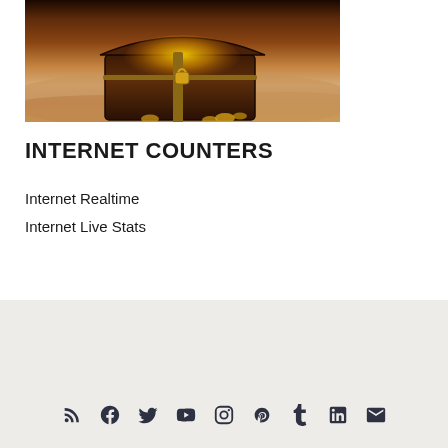[Figure (photo): Photograph of a treasure chest on sand, glowing with golden light from inside]
INTERNET COUNTERS
Internet Realtime
Internet Live Stats
Social media icons: RSS, Facebook, Twitter, YouTube, Instagram, Pinterest, Tumblr, LinkedIn, Mail